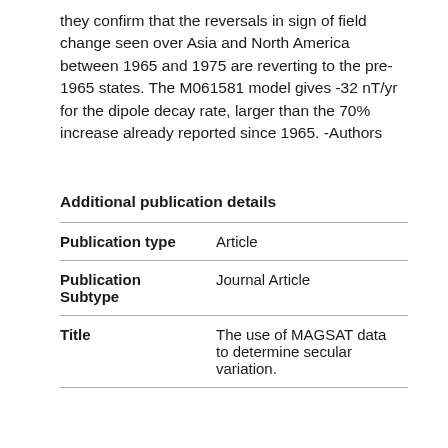they confirm that the reversals in sign of field change seen over Asia and North America between 1965 and 1975 are reverting to the pre-1965 states. The M061581 model gives -32 nT/yr for the dipole decay rate, larger than the 70% increase already reported since 1965. -Authors
Additional publication details
|  |  |
| --- | --- |
| Publication type | Article |
| Publication Subtype | Journal Article |
| Title | The use of MAGSAT data to determine secular variation. |